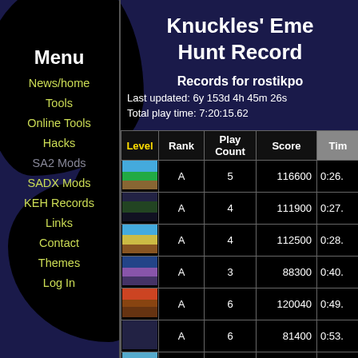Menu
News/home
Tools
Online Tools
Hacks
SA2 Mods
SADX Mods
KEH Records
Links
Contact
Themes
Log In
Knuckles' Emerald Hunt Records
Records for rostikpo
Last updated: 6y 153d 4h 45m 26s
Total play time: 7:20:15.62
| Level | Rank | Play Count | Score | Time |
| --- | --- | --- | --- | --- |
| [img] | A | 5 | 116600 | 0:26. |
| [img] | A | 4 | 111900 | 0:27. |
| [img] | A | 4 | 112500 | 0:28. |
| [img] | A | 3 | 88300 | 0:40. |
| [img] | A | 6 | 120040 | 0:49. |
| [img] | A | 6 | 81400 | 0:53. |
| [img] | A | ? | 81400 |  |